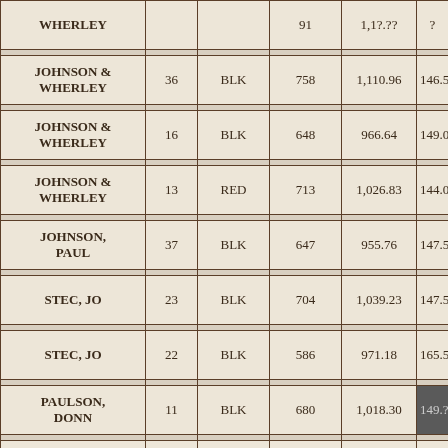| Name | Lot | Color | Sq Ft | Value | Rate |
| --- | --- | --- | --- | --- | --- |
| WHERLEY |  |  | 91 | 1,1?.?? | ? |
| JOHNSON & WHERLEY | 36 | BLK | 758 | 1,110.96 | 146.5 |
| JOHNSON & WHERLEY | 16 | BLK | 648 | 966.64 | 149.0 |
| JOHNSON & WHERLEY | 13 | RED | 713 | 1,026.83 | 144.0 |
| JOHNSON, PAUL | 37 | BLK | 647 | 955.76 | 147.5 |
| STEC, JO | 23 | BLK | 704 | 1,039.23 | 147.5 |
| STEC, JO | 22 | BLK | 586 | 971.18 | 165.5 |
| PAULSON, DONN | 11 | BLK | 680 | 1,018.30 | 149.? |
| BARSTOW, |  | BLK |  |  |  |